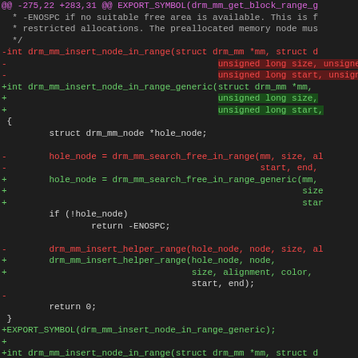[Figure (screenshot): A unified diff view of a C source code file showing modifications to drm_mm_insert_node_in_range function, with removed lines in red and added lines in green, on a dark background IDE/editor theme.]